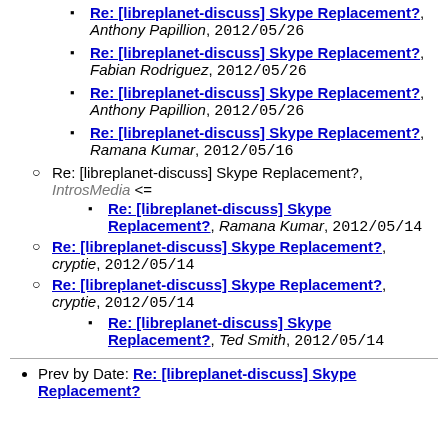Re: [libreplanet-discuss] Skype Replacement?, Anthony Papillion, 2012/05/26
Re: [libreplanet-discuss] Skype Replacement?, Fabian Rodriguez, 2012/05/26
Re: [libreplanet-discuss] Skype Replacement?, Anthony Papillion, 2012/05/26
Re: [libreplanet-discuss] Skype Replacement?, Ramana Kumar, 2012/05/16
Re: [libreplanet-discuss] Skype Replacement?, IntrosMedia <=
Re: [libreplanet-discuss] Skype Replacement?, Ramana Kumar, 2012/05/14
Re: [libreplanet-discuss] Skype Replacement?, cryptie, 2012/05/14
Re: [libreplanet-discuss] Skype Replacement?, cryptie, 2012/05/14
Re: [libreplanet-discuss] Skype Replacement?, Ted Smith, 2012/05/14
Prev by Date: Re: [libreplanet-discuss] Skype Replacement?